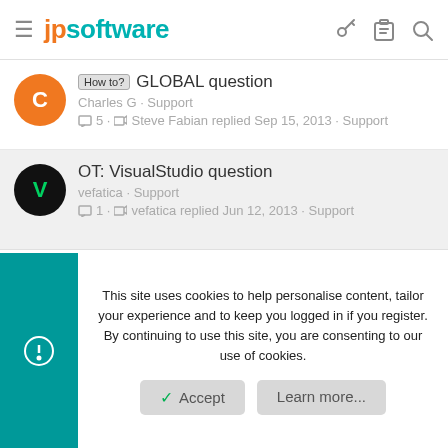jpsoftware
How to? GLOBAL question — Charles G · Support — 5 · Steve Fabian replied Sep 15, 2013 · Support
OT: VisualStudio question — vefatica · Support — 1 · vefatica replied Jun 12, 2013 · Support
Wildcard question — vefatica · Support — 4 · rconn replied Jun 2, 2013 · Support
This site uses cookies to help personalise content, tailor your experience and to keep you logged in if you register. By continuing to use this site, you are consenting to our use of cookies.